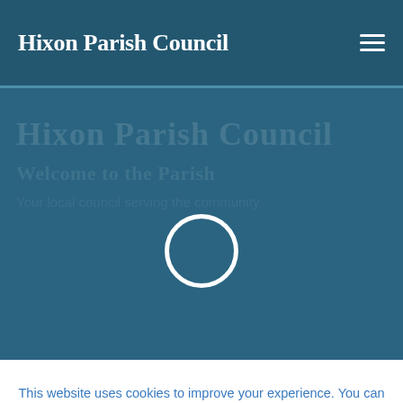Hixon Parish Council
[Figure (screenshot): Hero section with dark teal/blue background showing blurred background text and a loading spinner circle centered in the image area]
This website uses cookies to improve your experience. You can change your settings if you wish. Cookie settings
Accept